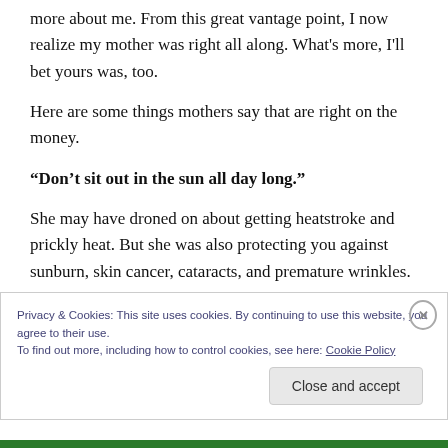more about me. From this great vantage point, I now realize my mother was right all along. What's more, I'll bet yours was, too.
Here are some things mothers say that are right on the money.
“Don’t sit out in the sun all day long.”
She may have droned on about getting heatstroke and prickly heat. But she was also protecting you against sunburn, skin cancer, cataracts, and premature wrinkles.
Privacy & Cookies: This site uses cookies. By continuing to use this website, you agree to their use.
To find out more, including how to control cookies, see here: Cookie Policy